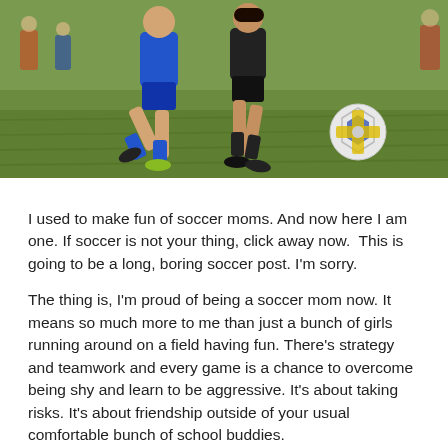[Figure (photo): Two youth soccer players in action on a grass field — one in a blue uniform, the other in black — competing for a blue and yellow soccer ball on the right side of the frame.]
I used to make fun of soccer moms. And now here I am one. If soccer is not your thing, click away now.  This is going to be a long, boring soccer post. I'm sorry.
The thing is, I'm proud of being a soccer mom now. It means so much more to me than just a bunch of girls running around on a field having fun. There's strategy and teamwork and every game is a chance to overcome being shy and learn to be aggressive. It's about taking risks. It's about friendship outside of your usual comfortable bunch of school buddies.